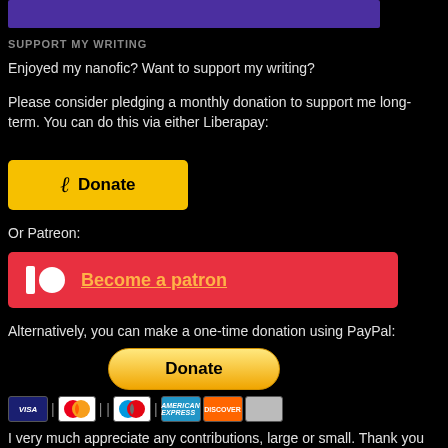[Figure (other): Purple/indigo banner image at top of page]
SUPPORT MY WRITING
Enjoyed my nanofic? Want to support my writing?
Please consider pledging a monthly donation to support me long-term. You can do this via either Liberapay:
[Figure (other): Liberapay yellow Donate button with logo]
Or Patreon:
[Figure (other): Patreon red Become a patron button with logo]
Alternatively, you can make a one-time donation using PayPal:
[Figure (other): PayPal gold Donate button]
[Figure (other): Payment method icons: VISA, Mastercard, Maestro, American Express, Discover, generic card]
I very much appreciate any contributions, large or small. Thank you kindly in advance for helping me spend more time doing the thing I